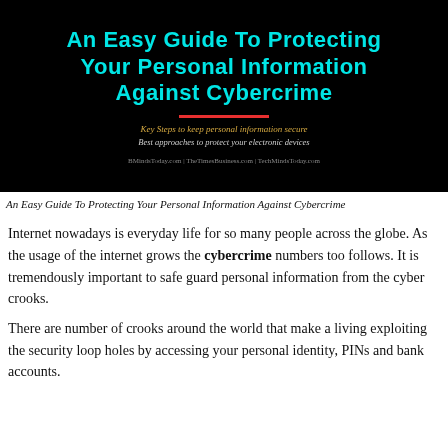[Figure (infographic): Black background banner with cyan bold title 'An Easy Guide To Protecting Your Personal Information Against Cybercrime', red underline, gold subtitle 'Key Steps to keep personal information secure', gray subtitle 'Best approaches to protect your electronic devices', and gray footer 'BMindsToday.com | TheTimesBusiness.com | TechMindsToday.com']
An Easy Guide To Protecting Your Personal Information Against Cybercrime
Internet nowadays is everyday life for so many people across the globe. As the usage of the internet grows the cybercrime numbers too follows. It is tremendously important to safe guard personal information from the cyber crooks.
There are number of crooks around the world that make a living exploiting the security loop holes by accessing your personal identity, PINs and bank accounts.